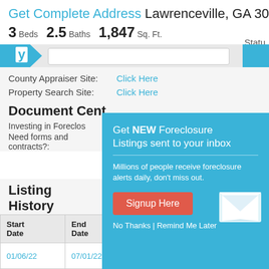Get Complete Address Lawrenceville, GA 30044
3 Beds  2.5 Baths  1,847 Sq. Ft.  Statu
[Figure (screenshot): Navigation bar with logo triangle, search input, and blue button]
County Appraiser Site: Click Here
Property Search Site: Click Here
Document Cent
Investing in Foreclos
Need forms and contracts?:
[Figure (infographic): Popup modal: Get NEW Foreclosure Listings sent to your inbox. Millions of people receive foreclosure alerts daily, don't miss out. Signup Here button. No Thanks | Remind Me Later. Envelope icon.]
Listing History
| Start Date | End Date | Listing Type | Bank Name |
| --- | --- | --- | --- |
| 01/06/22 | 07/01/22 | Preforeclosure | OAKLAND DOWNS |